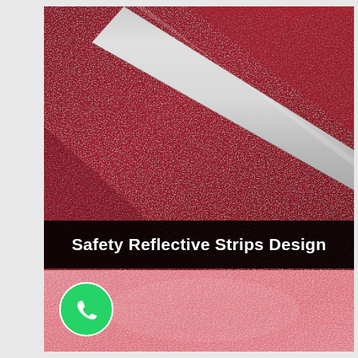[Figure (photo): Close-up of dark red/crimson fabric with a diagonal silver-gray reflective strip sewn across it, with visible stitching along the strip edges. Text overlay at bottom reads 'Safety Reflective Strips Design' in bold white on black background. Below is a close-up of pink/salmon-colored fabric texture. A WhatsApp icon (green circle with phone handset) appears in the lower left corner.]